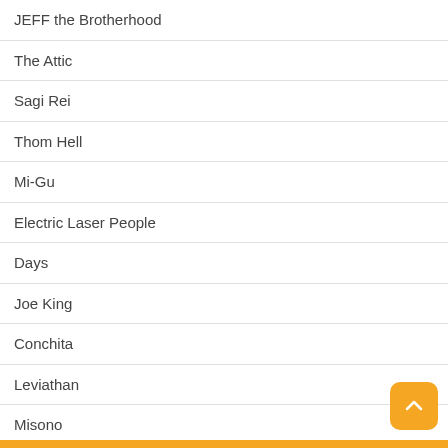JEFF the Brotherhood
The Attic
Sagi Rei
Thom Hell
Mi-Gu
Electric Laser People
Days
Joe King
Conchita
Leviathan
Misono
Pop Art
De Kreuners
Mas Salsa Que Tu